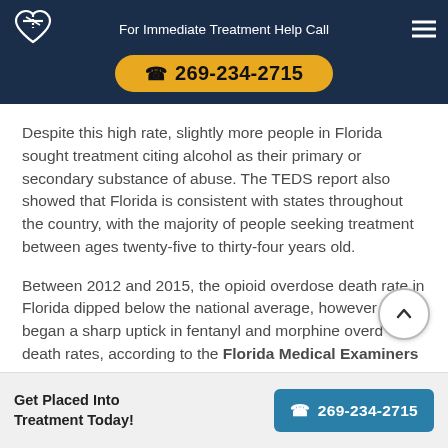For Immediate Treatment Help Call | 269-234-2715
Despite this high rate, slightly more people in Florida sought treatment citing alcohol as their primary or secondary substance of abuse. The TEDS report also showed that Florida is consistent with states throughout the country, with the majority of people seeking treatment between ages twenty-five to thirty-four years old.
Between 2012 and 2015, the opioid overdose death rate in Florida dipped below the national average, however 2015 began a sharp uptick in fentanyl and morphine overdose death rates, according to the Florida Medical Examiners
Get Placed Into Treatment Today! | 269-234-2715